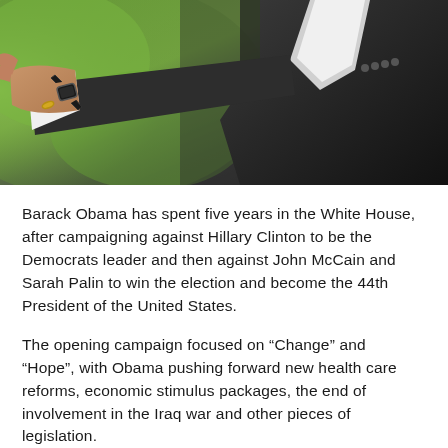[Figure (photo): Close-up photograph of a person in a dark suit with a white shirt, wearing a gold ring and a black watch, pointing with their right hand/arm extended. Green blurred background visible on the left side.]
Barack Obama has spent five years in the White House, after campaigning against Hillary Clinton to be the Democrats leader and then against John McCain and Sarah Palin to win the election and become the 44th President of the United States.
The opening campaign focused on “Change” and “Hope”, with Obama pushing forward new health care reforms, economic stimulus packages, the end of involvement in the Iraq war and other pieces of legislation.